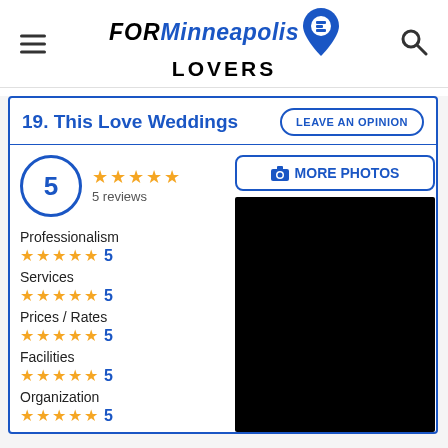FOR Minneapolis LOVERS
19. This Love Weddings
5 reviews
Professionalism 5
Services 5
Prices / Rates 5
Facilities 5
Organization 5
[Figure (photo): Black photo image placeholder]